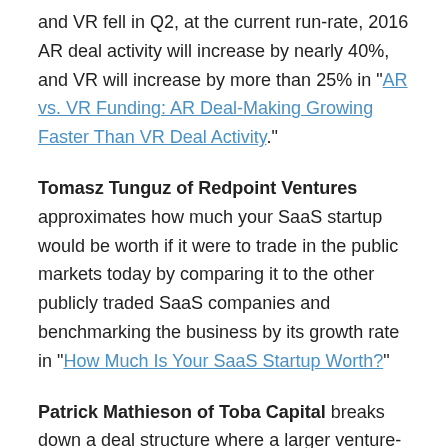and VR fell in Q2, at the current run-rate, 2016 AR deal activity will increase by nearly 40%, and VR will increase by more than 25% in "AR vs. VR Funding: AR Deal-Making Growing Faster Than VR Deal Activity."
Tomasz Tunguz of Redpoint Ventures approximates how much your SaaS startup would be worth if it were to trade in the public markets today by comparing it to the other publicly traded SaaS companies and benchmarking the business by its growth rate in "How Much Is Your SaaS Startup Worth?"
Patrick Mathieson of Toba Capital breaks down a deal structure where a larger venture-backed tech company agrees to acquire a smaller venture-backed tech company contingent upon an additional cash investment from the smaller company's investors into the larger company in "The Acqui-Funding Hybrid Round."